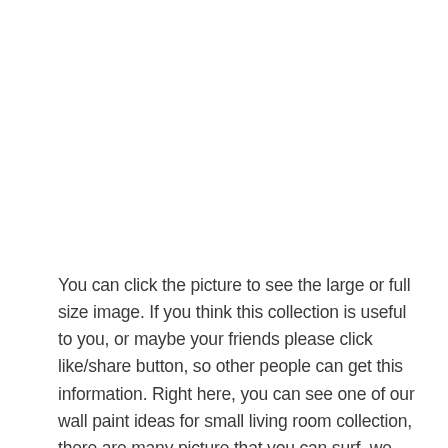You can click the picture to see the large or full size image. If you think this collection is useful to you, or maybe your friends please click like/share button, so other people can get this information. Right here, you can see one of our wall paint ideas for small living room collection, there are many picture that you can surf, we hope you like them too.